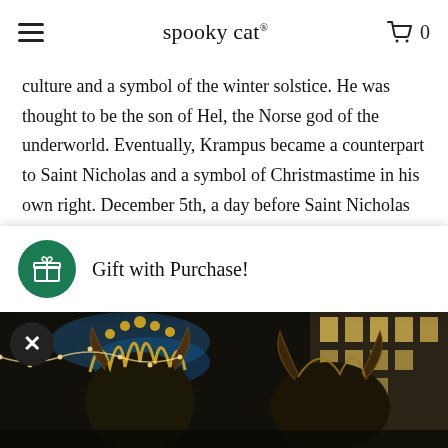spookycat® 0
culture and a symbol of the winter solstice. He was thought to be the son of Hel, the Norse god of the underworld. Eventually, Krampus became a counterpart to Saint Nicholas and a symbol of Christmastime in his own right. December 5th, a day before Saint Nicholas arrives in many parts of Europe, is Krampusnacht. It is Krampus' own special day to dole out punishment
Gift with Purchase!
[Figure (photo): Photo of Krampus figures with horns on a city street at night with illuminated buildings in background]